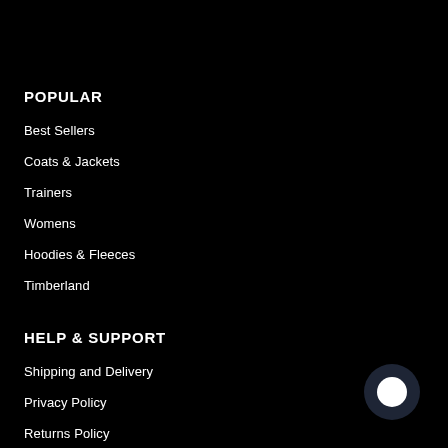POPULAR
Best Sellers
Coats & Jackets
Trainers
Womens
Hoodies & Fleeces
Timberland
HELP & SUPPORT
Shipping and Delivery
Privacy Policy
Returns Policy